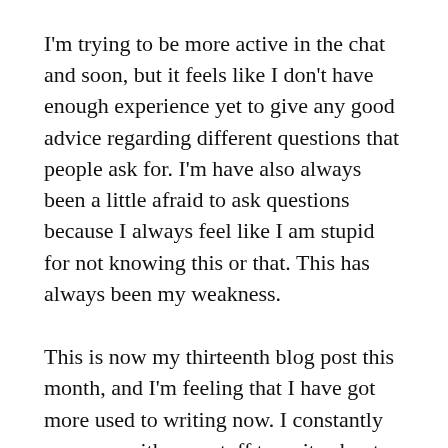I'm trying to be more active in the chat and soon, but it feels like I don't have enough experience yet to give any good advice regarding different questions that people ask for. I'm have also always been a little afraid to ask questions because I always feel like I am stupid for not knowing this or that. This has always been my weakness.
This is now my thirteenth blog post this month, and I'm feeling that I have got more used to writing now. I constantly come up with new stuff to write about. If I don't have anything for the moment, I can just write about my day, like now. I feel like it is more beneficial to come up with something every